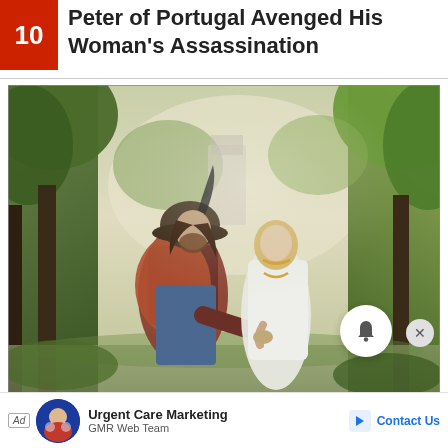10 Peter of Portugal Avenged His Woman's Assassination
[Figure (illustration): A romantic oil painting depicting a medieval nobleman in a feathered hat and red-furred cape whispering to or embracing a fair-haired woman in a white dress with a gold necklace, set in a forested woodland scene with soft light filtering through the trees.]
Ad  Urgent Care Marketing  GMR Web Team  Contact Us